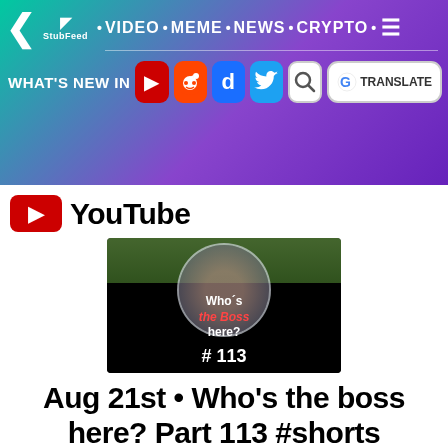< StubFeed · VIDEO · MEME · NEWS · CRYPTO · ☰
WHAT'S NEW IN [YouTube] [Reddit] [Digg] [Twitter] [Search] [G TRANSLATE]
[Figure (screenshot): YouTube video thumbnail showing 'Who's the Boss here? # 113' with players on field]
Aug 21st • Who's the boss here? Part 113 #shorts